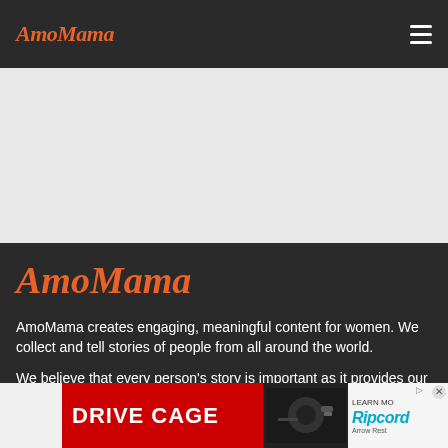AmoMama
[Figure (logo): AmoMama logo in dark footer area]
AmoMama creates engaging, meaningful content for women. We collect and tell stories of people from all around the world.
We believe that every person's story is important as it provides our community with an opportunity to feel a sense of belonging, share their hopes and dreams.
[Figure (other): Advertisement banner: DRIVE CAGE with Ripcord Arrow Rest branding]